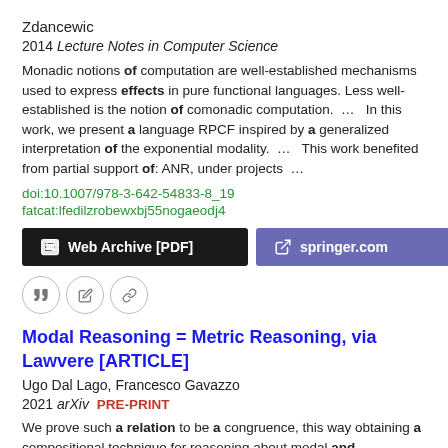Zdancewic
2014 Lecture Notes in Computer Science
Monadic notions of computation are well-established mechanisms used to express effects in pure functional languages. Less well-established is the notion of comonadic computation. … In this work, we present a language RPCF inspired by a generalized interpretation of the exponential modality. … This work benefited from partial support of: ANR, under projects …
doi:10.1007/978-3-642-54833-8_19
fatcat:lfedilzrobewxbj55nogaeodj4
Web Archive [PDF]  springer.com
[quote icon] [edit icon] [link icon]
Modal Reasoning = Metric Reasoning, via Lawvere [ARTICLE]
Ugo Dal Lago, Francesco Gavazzo
2021 arXiv  PRE-PRINT
We prove such a relation to be a congruence, this way obtaining a compositional technique for reasoning about modal and coeffectful